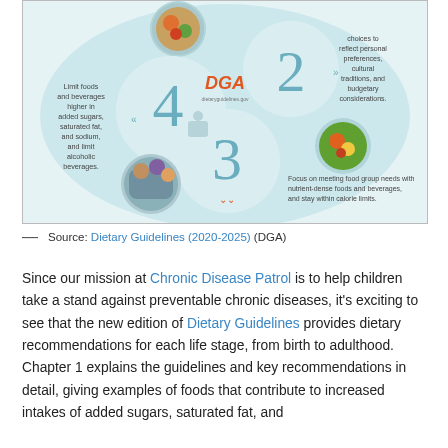[Figure (infographic): DGA (Dietary Guidelines for Americans 2020-2025) circular infographic showing 4 guidelines arranged in overlapping circles: (1) top circle with food photo, (2) right circle with text about making choices to reflect personal preferences, cultural traditions, and budgetary considerations, (3) number 4 with text 'Limit foods and beverages higher in added sugars, saturated fat, and sodium, and limit alcoholic beverages.', (4) number 3 with text 'Focus on meeting food group needs with nutrient-dense foods and beverages, and stay within calorie limits.' Bottom left circle shows a photo of people eating. Center shows the DGA orange logo.]
— Source: Dietary Guidelines (2020-2025) (DGA)
Since our mission at Chronic Disease Patrol is to help children take a stand against preventable chronic diseases, it's exciting to see that the new edition of Dietary Guidelines provides dietary recommendations for each life stage, from birth to adulthood. Chapter 1 explains the guidelines and key recommendations in detail, giving examples of foods that contribute to increased intakes of added sugars, saturated fat, and